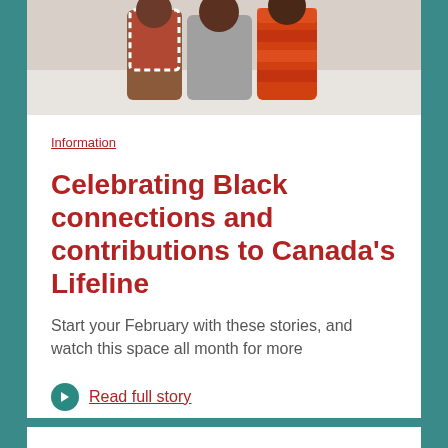[Figure (photo): Photo of people (appears to be adults and a child) in winter clothing outdoors in a snowy setting, cropped at the top of the card.]
Information
Celebrating Black connections and contributions to Canada's Lifeline
Start your February with these stories, and watch this space all month for more
Read full story